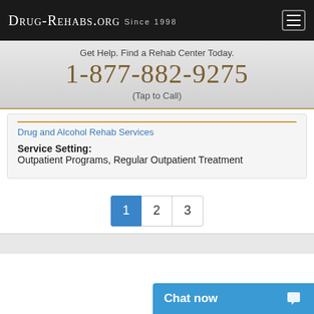Drug-Rehabs.org Since 1998
Get Help. Find a Rehab Center Today.
1-877-882-9275
(Tap to Call)
Drug and Alcohol Rehab Services
Service Setting:
Outpatient Programs, Regular Outpatient Treatment
1 2 3
Chat now